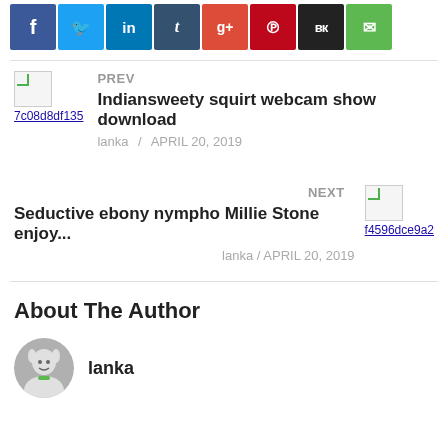[Figure (infographic): Social media sharing buttons: Facebook, Twitter, LinkedIn, Tumblr, Google+, Pinterest, VK, Email]
PREV
7c08d8df135
Indiansweety squirt webcam show download
lanka / APRIL 20, 2019
NEXT
f4596dce9a2
Seductive ebony nympho Millie Stone enjoy...
lanka / APRIL 20, 2019
About The Author
lanka